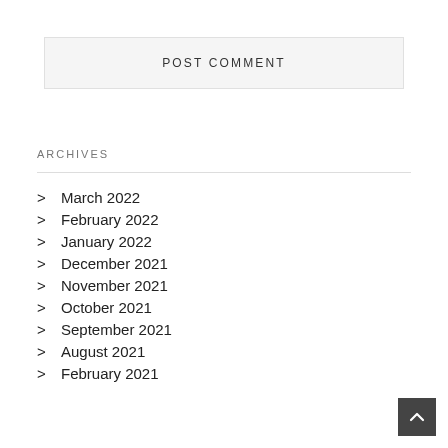POST COMMENT
ARCHIVES
March 2022
February 2022
January 2022
December 2021
November 2021
October 2021
September 2021
August 2021
February 2021